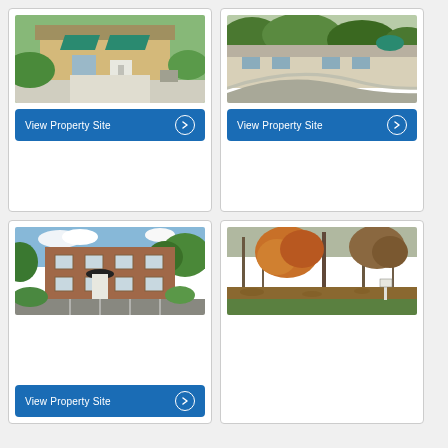[Figure (photo): Exterior of a beige building with teal/green awnings and concrete driveway, surrounded by greenery]
[Figure (other): Button: View Property Site with right arrow]
[Figure (photo): Exterior of a low ranch-style building with curved asphalt driveway and teal dome accent, surrounded by shrubs and trees]
[Figure (other): Button: View Property Site with right arrow]
[Figure (photo): Two-story brick building with white entry door, black canopy, parking lot, surrounded by trees under partly cloudy sky]
[Figure (photo): Wooded lot with orange, red and bare trees in autumn, green grass visible at edges]